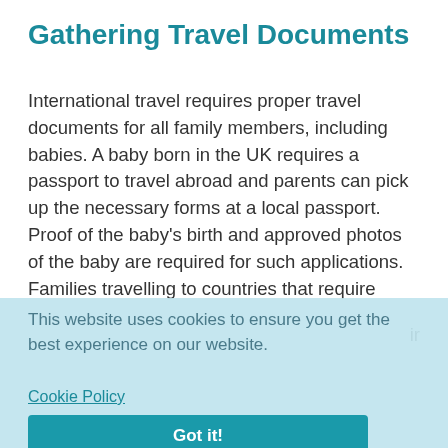Gathering Travel Documents
International travel requires proper travel documents for all family members, including babies. A baby born in the UK requires a passport to travel abroad and parents can pick up the necessary forms at a local passport. Proof of the baby's birth and approved photos of the baby are required for such applications. Families travelling to countries that require...
This website uses cookies to ensure you get the best experience on our website.
Cookie Policy
Got it!
Purchasing Airfare
...out ...ons ...sing any of them. Whether or not a seat is required